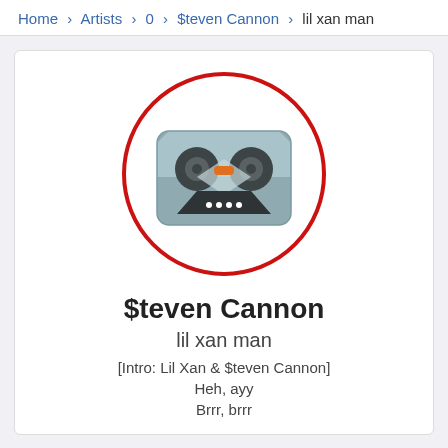Home › Artists › 0 › $teven Cannon › lil xan man
[Figure (illustration): Cassette tape icon inside a red circle outline on a white card background]
$teven Cannon
lil xan man
[Intro: Lil Xan & $teven Cannon]
Heh, ayy
Brrr, brrr